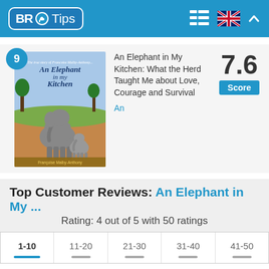BR Tips
[Figure (other): Book cover for 'An Elephant in My Kitchen' with rank badge 9]
An Elephant in My Kitchen: What the Herd Taught Me about Love, Courage and Survival
7.6 Score
An
Top Customer Reviews: An Elephant in My ...
Rating: 4 out of 5 with 50 ratings
| 1-10 | 11-20 | 21-30 | 31-40 | 41-50 |
| --- | --- | --- | --- | --- |
|  |
★★★★★ 5 / 5  Lorri